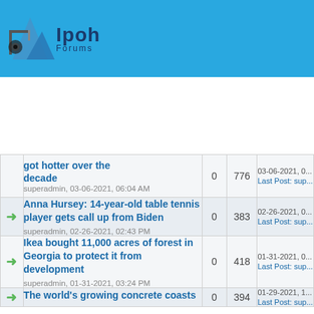[Figure (logo): Ipoh Forums logo with blue header bar, mountain/construction icon and stylized text 'Ipoh Forums']
|  | Topic | Replies | Views | Last Post |
| --- | --- | --- | --- | --- |
| → | got hotter over the decade
superadmin, 03-06-2021, 06:04 AM | 0 | 776 | 03-06-2021, 0...
Last Post: sup... |
| → | Anna Hursey: 14-year-old table tennis player gets call up from Biden
superadmin, 02-26-2021, 02:43 PM | 0 | 383 | 02-26-2021, 0...
Last Post: sup... |
| → | Ikea bought 11,000 acres of forest in Georgia to protect it from development
superadmin, 01-31-2021, 03:24 PM | 0 | 418 | 01-31-2021, 0...
Last Post: sup... |
| → | The world's growing concrete coasts
superadmin, 01-29-2021, ... | 0 | 394 | 01-29-2021, 1...
Last Post: sup... |